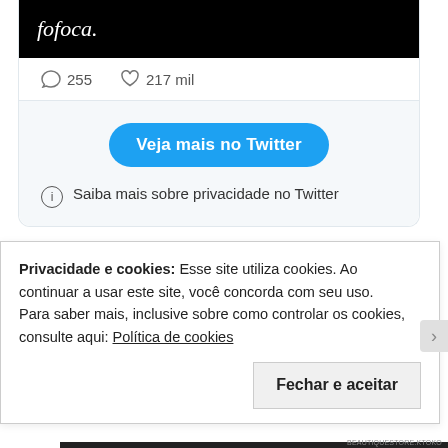[Figure (screenshot): Twitter/WordPress embedded tweet card showing: black image strip with italic text 'fofoca.', stats row with comment icon '255' and heart icon '217 mil', a blue 'Veja mais no Twitter' button, and a privacy info line 'Saiba mais sobre privacidade no Twitter']
Privacidade e cookies: Esse site utiliza cookies. Ao continuar a usar este site, você concorda com seu uso.
Para saber mais, inclusive sobre como controlar os cookies, consulte aqui: Política de cookies
Fechar e aceitar